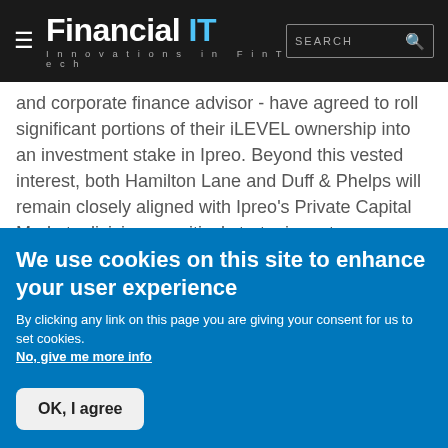Financial IT — Innovations in FinTech
and corporate finance advisor - have agreed to roll significant portions of their iLEVEL ownership into an investment stake in Ipreo. Beyond this vested interest, both Hamilton Lane and Duff & Phelps will remain closely aligned with Ipreo's Private Capital Markets division as critical strategic partners.
Ipreo is a leading provider of primary new-issuance solutions and investor data to all participants in the global capital markets, enabling clients to execute deals more efficiently. Ipreo was acquired in August 2014 by private equity funds managed by Blackstone and Goldman Sachs Merchant Banking Division, and shortly thereafter expanded into the Alternative Assets space with the acquisitions of
We use cookies on this site to enhance your user experience
By clicking any link on this page you are giving your consent for us to set cookies. No, give me more info
OK, I agree